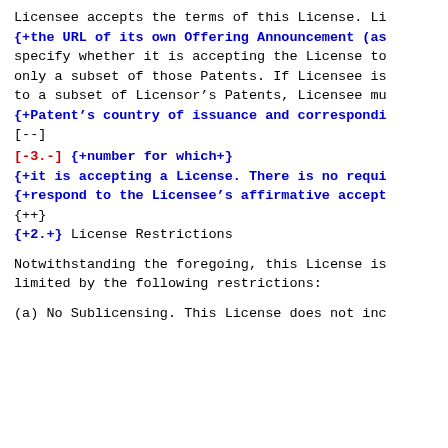Licensee accepts the terms of this License. Li
{+the URL of its own Offering Announcement (as
specify whether it is accepting the License to
only a subset of those Patents. If Licensee is
to a subset of Licensor's Patents, Licensee mu
{+Patent's country of issuance and correspondi
[--]
[-3.-] {+number for which+}
{+it is accepting a License. There is no requi
{+respond to the Licensee's affirmative accept
{++}
{+2.+} License Restrictions
Notwithstanding the foregoing, this License is limited by the following restrictions:
(a) No Sublicensing. This License does not inc